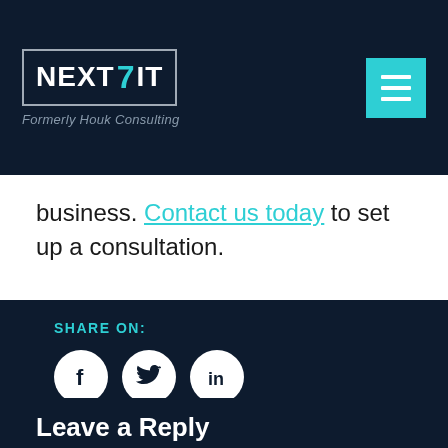NEXT7IT — Formerly Houk Consulting
business. Contact us today to set up a consultation.
SHARE ON:
[Figure (illustration): Social media share icons: Facebook, Twitter, LinkedIn as white circles on dark background]
Leave a Reply
Your email address will not be published. Required fields are marked *